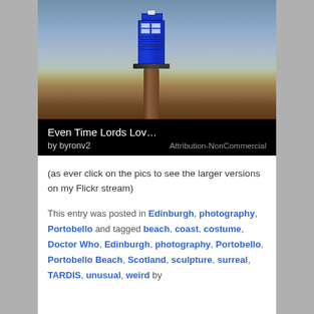[Figure (photo): A miniature blue TARDIS (Doctor Who police box) sitting on top of a wooden post at a beach, with sea and sand in the background. Black overlay at bottom with title and attribution.]
Even Time Lords Lov…
by byronv2
Attribution-NonCommercial
(as ever click on the pics to see the larger versions on my Flickr stream)
This entry was posted in Edinburgh, photography, Portobello and tagged beach, coast, costume, Doctor Who, Edinburgh, photography, Portobello, Portobello Beach, Scotland, sculpture, surreal, TARDIS, unusual, weird by